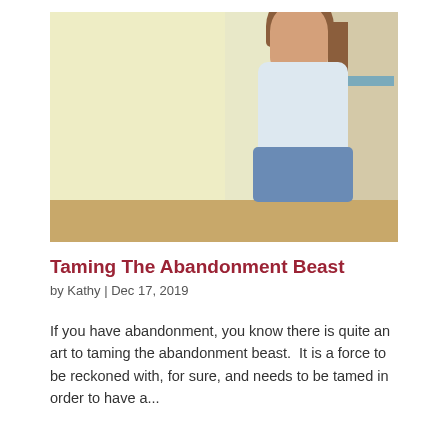[Figure (photo): A young girl with long brown hair wearing a white shirt and jeans, sitting cross-legged on a wooden floor against a light yellow wall with a door visible to the right. She looks directly at the camera with a serious expression.]
Taming The Abandonment Beast
by Kathy | Dec 17, 2019
If you have abandonment, you know there is quite an art to taming the abandonment beast.  It is a force to be reckoned with, for sure, and needs to be tamed in order to have a...